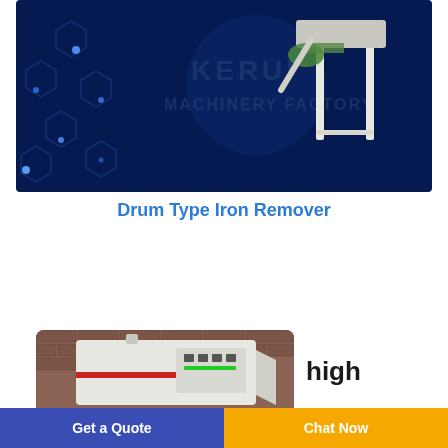[Figure (photo): Industrial drum type iron remover machine on a white frame stand, shown against a dark navy blue background with hexagonal pattern graphics and the text 'KERUI MACHINERY FACTORY' watermark.]
Drum Type Iron Remover
[Figure (photo): Close-up photo of industrial machinery (iron remover equipment) with control panel, showing a white and red machine in front of a brick wall background.]
high
Get a Quote   Chat Now